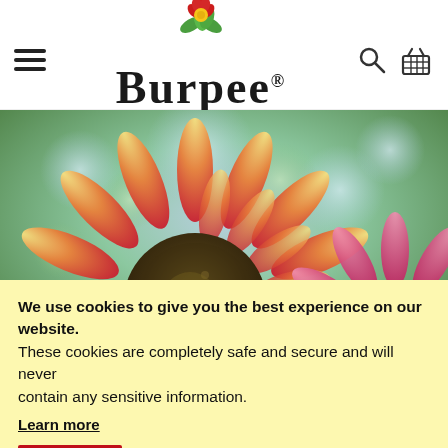Burpee
[Figure (photo): Close-up photograph of a red-and-yellow sunflower with a dark brown center, with another pink flower visible in the background and a blurred green and blue bokeh background.]
We use cookies to give you the best experience on our website. These cookies are completely safe and secure and will never contain any sensitive information.
Learn more
Ok